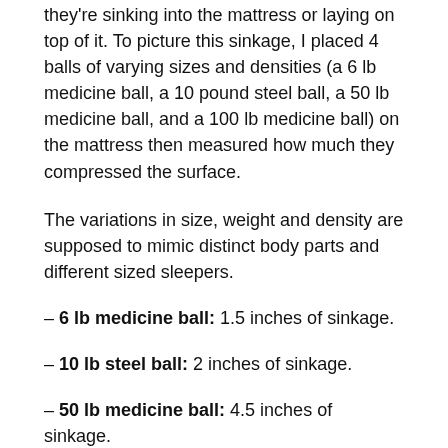they're sinking into the mattress or laying on top of it. To picture this sinkage, I placed 4 balls of varying sizes and densities (a 6 lb medicine ball, a 10 pound steel ball, a 50 lb medicine ball, and a 100 lb medicine ball) on the mattress then measured how much they compressed the surface.
The variations in size, weight and density are supposed to mimic distinct body parts and different sized sleepers.
– 6 lb medicine ball: 1.5 inches of sinkage.
– 10 lb steel ball: 2 inches of sinkage.
– 50 lb medicine ball: 4.5 inches of sinkage.
– 100 lb medicine ball: 5.5 inches of sinkage.